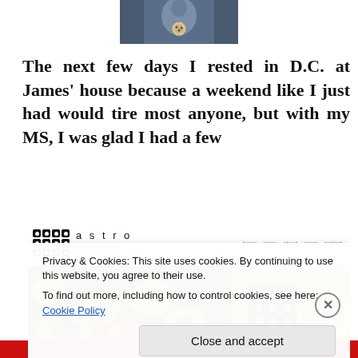[Figure (photo): Cropped photo of a person wearing a blue outfit with a circular pin/badge, shown from chest up]
The next few days I rested in D.C. at James' house because a weekend like I just had would tire most anyone, but with my MS, I was glad I had a few
[Figure (screenshot): Screenshot of Astro Doughnuts & Fried Chicken website showing logo, navigation, and food photography header]
Privacy & Cookies: This site uses cookies. By continuing to use this website, you agree to their use.
To find out more, including how to control cookies, see here: Cookie Policy
Close and accept